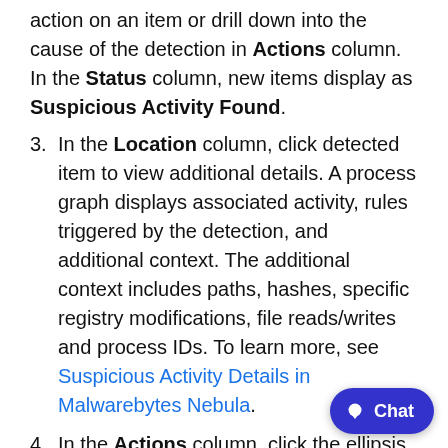date/time of the detection. You can take action on an item or drill down into the cause of the detection in Actions column. In the Status column, new items display as Suspicious Activity Found.
3. In the Location column, click detected item to view additional details. A process graph displays associated activity, rules triggered by the detection, and additional context. The additional context includes paths, hashes, specific registry modifications, file reads/writes and process IDs. To learn more, see Suspicious Activity Details in Malwarebytes Nebula.
4. In the Actions column, click the ellipsis icon ( … ) to choose either of the following actions:
• Isolate Endpoint: Block network